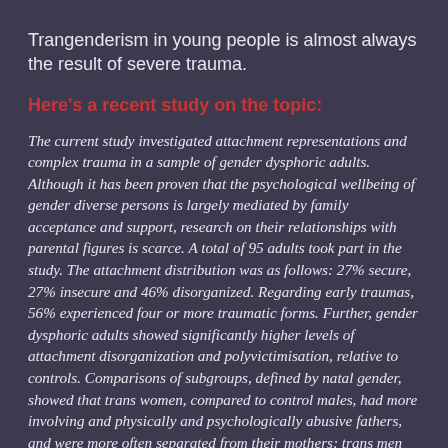Trangenderism in young people is almost always the result of severe trauma.
Here's a recent study on the topic:
The current study investigated attachment representations and complex trauma in a sample of gender dysphoric adults. Although it has been proven that the psychological wellbeing of gender diverse persons is largely mediated by family acceptance and support, research on their relationships with parental figures is scarce. A total of 95 adults took part in the study. The attachment distribution was as follows: 27% secure, 27% insecure and 46% disorganized. Regarding early traumas, 56% experienced four or more traumatic forms. Further, gender dysphoric adults showed significantly higher levels of attachment disorganization and polyvictimisation, relative to controls. Comparisons of subgroups, defined by natal gender, showed that trans women, compared to control males, had more involving and physically and psychologically abusive fathers, and were more often separated from their mothers; trans men